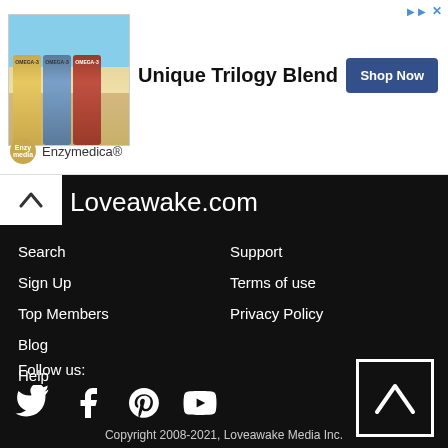[Figure (illustration): Advertisement banner for Enzymedica Omega-3 supplement with beach background, three supplement bottles, headline 'Unique Trilogy Blend', Shop Now button, and Enzymedica brand logo]
Loveawake.com
Search
Sign Up
Top Members
Blog
Help
Support
Terms of use
Privacy Policy
Follow us:
[Figure (illustration): Social media icons: Twitter, Facebook, Pinterest, YouTube]
[Figure (illustration): Back to top button: white square with upward chevron arrow]
Copyright 2008-2021, Loveawake Media Inc.